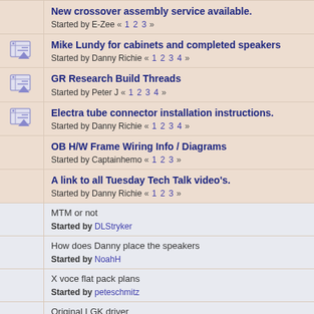New crossover assembly service available. Started by E-Zee « 1 2 3 »
Mike Lundy for cabinets and completed speakers Started by Danny Richie « 1 2 3 4 »
GR Research Build Threads Started by Peter J « 1 2 3 4 »
Electra tube connector installation instructions. Started by Danny Richie « 1 2 3 4 »
OB H/W Frame Wiring Info / Diagrams Started by Captainhemo « 1 2 3 »
A link to all Tuesday Tech Talk video's. Started by Danny Richie « 1 2 3 »
MTM or not Started by DLStryker
How does Danny place the speakers Started by NoahH
X voce flat pack plans Started by peteschmitz
Original LGK driver Started by mkane
No response from a Private message to GR Research Started by ttan98 « 1 2 »